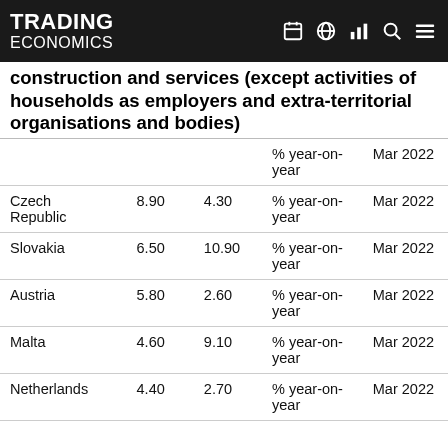TRADING ECONOMICS
construction and services (except activities of households as employers and extra-territorial organisations and bodies)
|  |  |  | % year-on-year | Mar 2022 |
| --- | --- | --- | --- | --- |
| Czech Republic | 8.90 | 4.30 | % year-on-year | Mar 2022 |
| Slovakia | 6.50 | 10.90 | % year-on-year | Mar 2022 |
| Austria | 5.80 | 2.60 | % year-on-year | Mar 2022 |
| Malta | 4.60 | 9.10 | % year-on-year | Mar 2022 |
| Netherlands | 4.40 | 2.70 | % year-on-year | Mar 2022 |